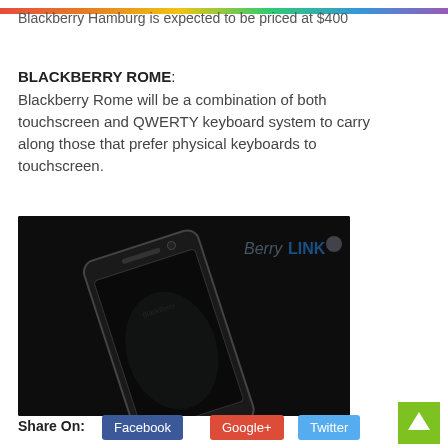[Figure (photo): Colorful horizontal bar at the top of the page (rainbow gradient)]
Blackberry Hamburg is expected to be priced at $400
BLACKBERRY ROME:
Blackberry Rome will be a combination of both touchscreen and QWERTY keyboard system to carry along those that prefer physical keyboards to touchscreen.
[Figure (photo): Dark image of a BlackBerry Rome smartphone concept render on black background, with BerryLINK watermark in top right corner]
Share On:
[Figure (other): Facebook share button (blue)]
[Figure (other): Google+ share button (red)]
[Figure (other): Twitter share button (light blue)]
[Figure (other): Green scroll-to-top arrow button in bottom right corner]